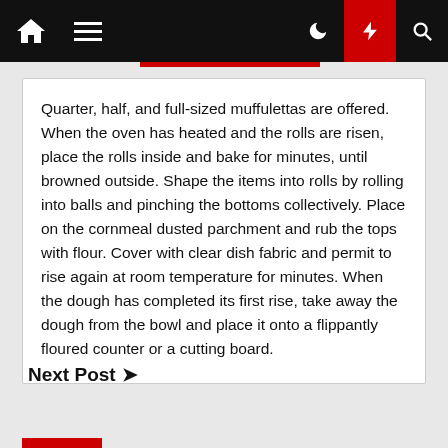Navigation bar with home, menu, dark mode, lightning, and search icons
Quarter, half, and full-sized muffulettas are offered. When the oven has heated and the rolls are risen, place the rolls inside and bake for minutes, until browned outside. Shape the items into rolls by rolling into balls and pinching the bottoms collectively. Place on the cornmeal dusted parchment and rub the tops with flour. Cover with clear dish fabric and permit to rise again at room temperature for minutes. When the dough has completed its first rise, take away the dough from the bowl and place it onto a flippantly floured counter or a cutting board.
Next Post ❯